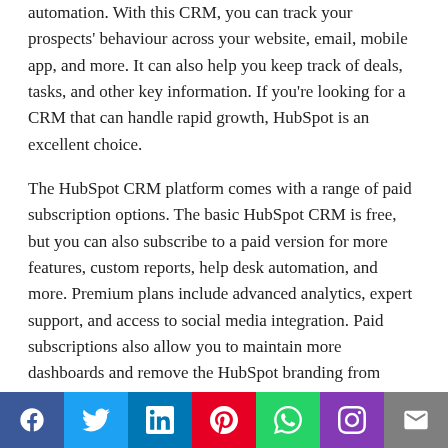automation. With this CRM, you can track your prospects' behaviour across your website, email, mobile app, and more. It can also help you keep track of deals, tasks, and other key information. If you're looking for a CRM that can handle rapid growth, HubSpot is an excellent choice.
The HubSpot CRM platform comes with a range of paid subscription options. The basic HubSpot CRM is free, but you can also subscribe to a paid version for more features, custom reports, help desk automation, and more. Premium plans include advanced analytics, expert support, and access to social media integration. Paid subscriptions also allow you to maintain more dashboards and remove the HubSpot branding from forms.
Salesforce CRM
[Figure (other): Social media share bar with icons for Facebook, Twitter, LinkedIn, Pinterest, WhatsApp, Instagram, and Email]